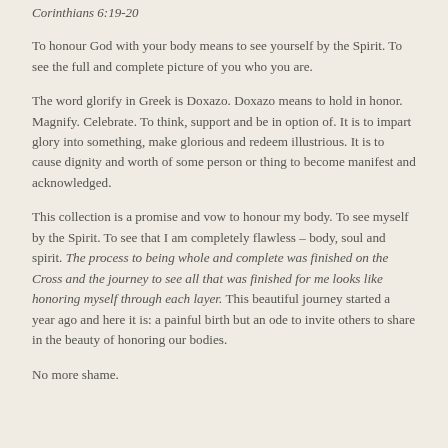Corinthians 6:19-20
To honour God with your body means to see yourself by the Spirit. To see the full and complete picture of you who you are.
The word glorify in Greek is Doxazo. Doxazo means to hold in honor. Magnify. Celebrate. To think, support and be in option of. It is to impart glory into something, make glorious and redeem illustrious. It is to cause dignity and worth of some person or thing to become manifest and acknowledged.
This collection is a promise and vow to honour my body. To see myself by the Spirit. To see that I am completely flawless – body, soul and spirit. The process to being whole and complete was finished on the Cross and the journey to see all that was finished for me looks like honoring myself through each layer. This beautiful journey started a year ago and here it is: a painful birth but an ode to invite others to share in the beauty of honoring our bodies.
No more shame.